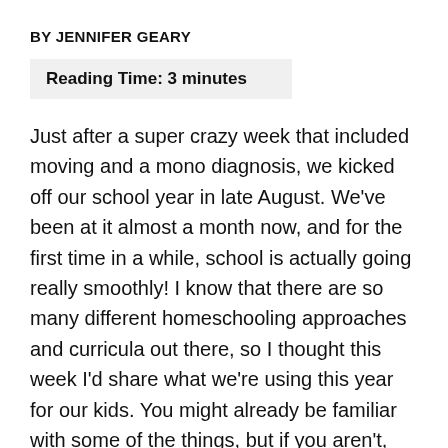BY JENNIFER GEARY
Reading Time: 3 minutes
Just after a super crazy week that included moving and a mono diagnosis, we kicked off our school year in late August. We've been at it almost a month now, and for the first time in a while, school is actually going really smoothly! I know that there are so many different homeschooling approaches and curricula out there, so I thought this week I'd share what we're using this year for our kids. You might already be familiar with some of the things, but if you aren't,